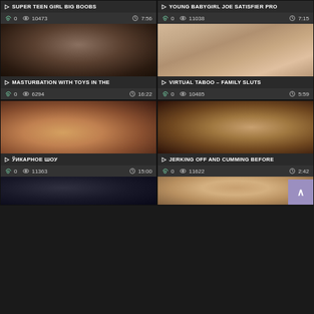SUPER TEEN GIRL BIG BOOBS
0  10473  7:56
[Figure (photo): Dark close-up photo thumbnail]
MASTURBATION WITH TOYS IN THE
0  6294  16:22
YOUNG BABYGIRL JOE SATISFIER PRO
0  11038  7:15
[Figure (photo): Two women photo thumbnail]
VIRTUAL TABOO - FAMILY SLUTS
0  10485  5:59
[Figure (photo): Redhead woman photo thumbnail]
ЎИКАРНОЕ ШОУ
0  11363  15:00
[Figure (photo): Close-up skin photo thumbnail]
JERKING OFF AND CUMMING BEFORE
0  11622  2:42
[Figure (photo): Dark thumbnail bottom left]
[Figure (photo): Skin tone thumbnail bottom right]